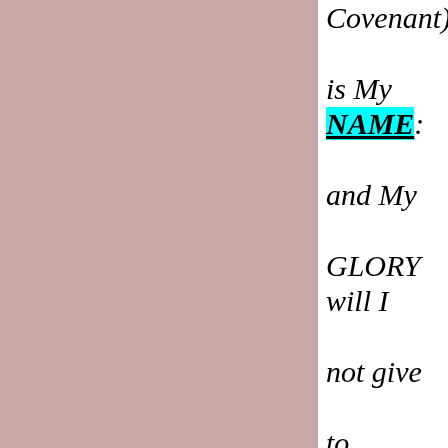[Figure (illustration): Large rectangular area filled with muted rose/mauve color occupying the left two-thirds of the page.]
Covenant) is My NAME: and My GLORY will I not give to another, neither